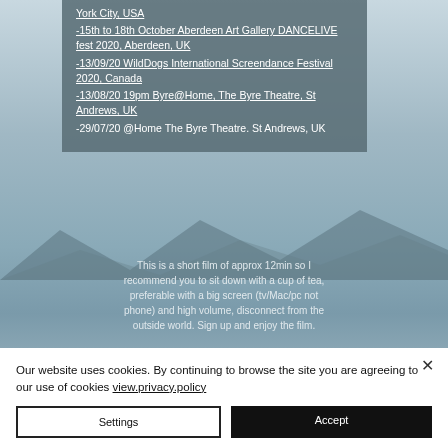York City, USA
-15th to 18th October Aberdeen Art Gallery DANCELIVE fest 2020, Aberdeen, UK
-13/09/20 WildDogs International Screendance Festival 2020, Canada
-13/08/20 19pm Byre@Home, The Byre Theatre, St Andrews, UK
-29/07/20 @Home The Byre Theatre. St Andrews, UK
This is a short film of approx 12min so I recommend you to sit down with a cup of tea, preferable with a big screen (tv/Mac/pc not phone) and high volume, disconnect from the outside world. Sign up and enjoy the film.
Our website uses cookies. By continuing to browse the site you are agreeing to our use of cookies view.privacy.policy